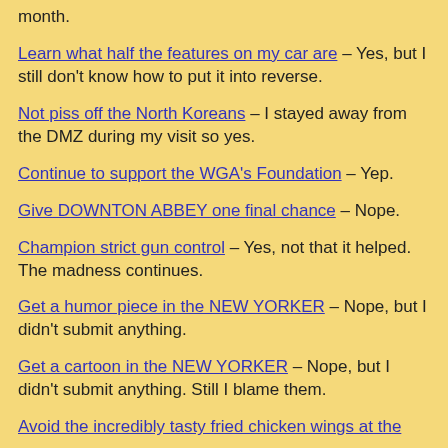month.
Learn what half the features on my car are – Yes, but I still don't know how to put it into reverse.
Not piss off the North Koreans – I stayed away from the DMZ during my visit so yes.
Continue to support the WGA's Foundation – Yep.
Give DOWNTON ABBEY one final chance – Nope.
Champion strict gun control – Yes, not that it helped. The madness continues.
Get a humor piece in the NEW YORKER – Nope, but I didn't submit anything.
Get a cartoon in the NEW YORKER – Nope, but I didn't submit anything. Still I blame them.
Avoid the incredibly tasty fried chicken wings at the